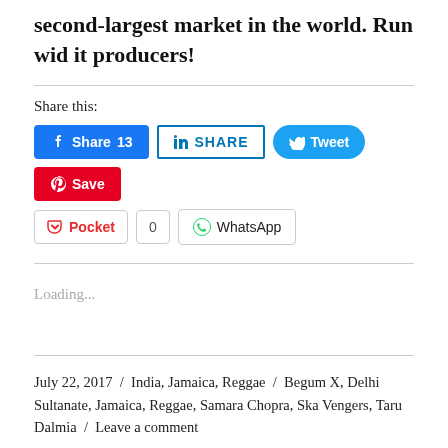second-largest market in the world. Run wid it producers!
Share this:
Facebook Share 13 | LinkedIn SHARE | Twitter Tweet | Pinterest Save | Pocket 0 | WhatsApp
Loading...
July 22, 2017 / India, Jamaica, Reggae / Begum X, Delhi Sultanate, Jamaica, Reggae, Samara Chopra, Ska Vengers, Taru Dalmia / Leave a comment